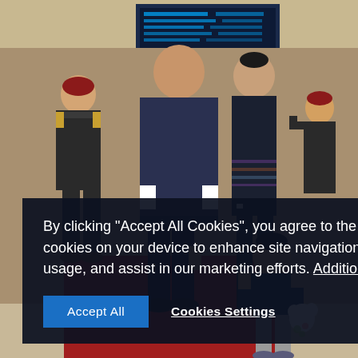[Figure (photo): A family group walking through an airport terminal. A man in a dark traditional Bhutanese gho robe holds hands with a young toddler boy dressed in a navy sweater and grey pants who carries a stuffed animal toy. A woman in a dark traditional Bhutanese kira dress walks beside them. A military officer in uniform with a red beret walks behind on the left, and another uniformed officer salutes in the background on the right. A red carpet is visible on the floor and flight information display boards are visible in the background.]
By clicking "Accept All Cookies", you agree to the storing of cookies on your device to enhance site navigation, analyze site usage, and assist in our marketing efforts. Additional Information
Accept All
Cookies Settings